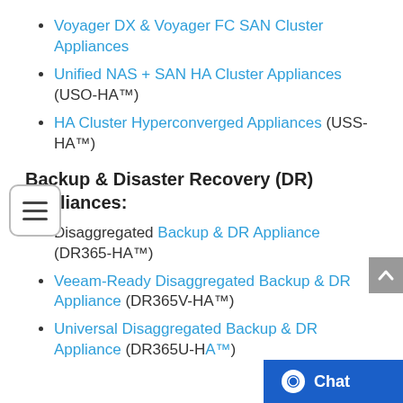Voyager DX & Voyager FC SAN Cluster Appliances
Unified NAS + SAN HA Cluster Appliances (USO-HA™)
HA Cluster Hyperconverged Appliances (USS-HA™)
Backup & Disaster Recovery (DR) Appliances:
Disaggregated Backup & DR Appliance (DR365-HA™)
Veeam-Ready Disaggregated Backup & DR Appliance (DR365V-HA™)
Universal Disaggregated Backup & DR Appliance (DR365U-HA™)